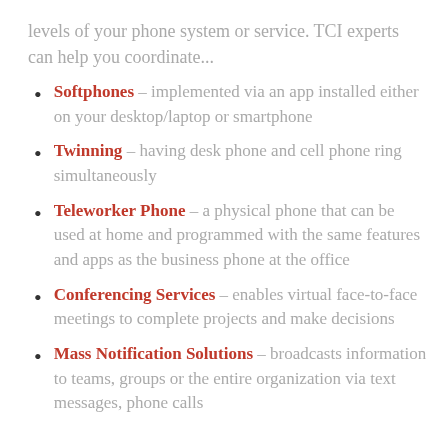levels of your phone system or service. TCI experts can help you coordinate...
Softphones – implemented via an app installed either on your desktop/laptop or smartphone
Twinning – having desk phone and cell phone ring simultaneously
Teleworker Phone – a physical phone that can be used at home and programmed with the same features and apps as the business phone at the office
Conferencing Services – enables virtual face-to-face meetings to complete projects and make decisions
Mass Notification Solutions – broadcasts information to teams, groups or the entire organization via text messages, phone calls